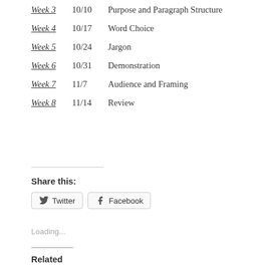Week 3  10/10  Purpose and Paragraph Structure
Week 4  10/17  Word Choice
Week 5  10/24  Jargon
Week 6  10/31  Demonstration
Week 7  11/7  Audience and Framing
Week 8  11/14  Review
Share this:
Twitter  Facebook
Loading...
Related